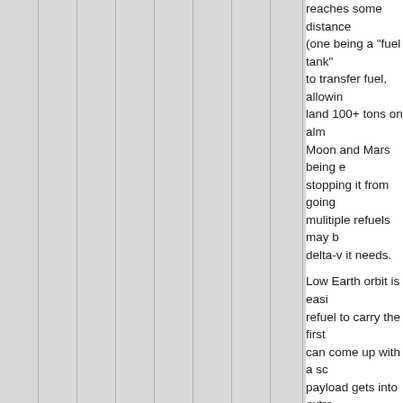[Figure (other): Left panel with gray background and vertical lines, likely representing a partially visible illustration or diagram column.]
reaches some distance (one being a "fuel tank") to transfer fuel, allowing to land 100+ tons on alm Moon and Mars being e stopping it from going mulitiple refuels may b delta-v it needs.

Low Earth orbit is easi refuel to carry the first can come up with a sc payload gets into extre boosted by a refuel, bu payloads aren't curren

There will be a cargo v cargo version to come it is less sophisticated. support system and va and an exit that includ people/cargo/robots ou open up a huge exit in (fairing will not separa as with Falcon 9 and o

The illustrations here [ of how the cargo versi

In my opinion, the car it will be able to fit gi